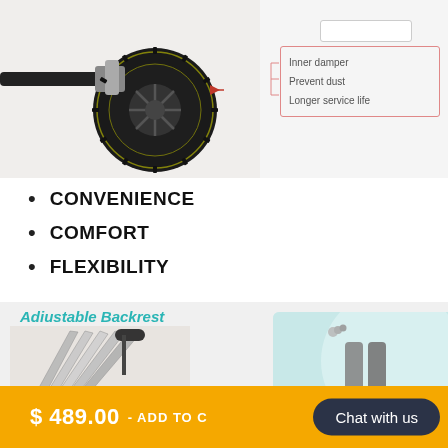[Figure (photo): Close-up photo of a stroller/pram wheel with annotations showing Inner damper, Prevent dust, and Longer service life features]
CONVENIENCE
COMFORT
FLEXIBILITY
[Figure (photo): Product feature section showing Adjustable Backrest with two images: folded stroller and seat adjustment diagram on light blue background]
$ 489.00 - ADD TO CART
Chat with us